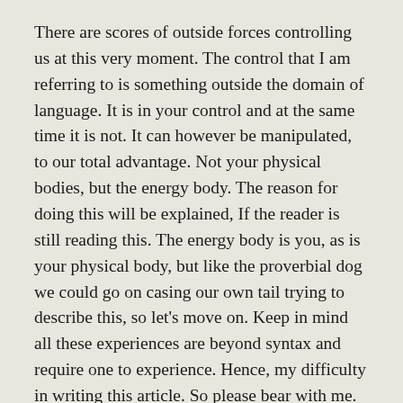There are scores of outside forces controlling us at this very moment. The control that I am referring to is something outside the domain of language. It is in your control and at the same time it is not. It can however be manipulated, to our total advantage. Not your physical bodies, but the energy body. The reason for doing this will be explained, If the reader is still reading this. The energy body is you, as is your physical body, but like the proverbial dog we could go on casing our own tail trying to describe this, so let's move on. Keep in mind all these experiences are beyond syntax and require one to experience. Hence, my difficulty in writing this article. So please bear with me.
Sitting in the darkness one can pay close